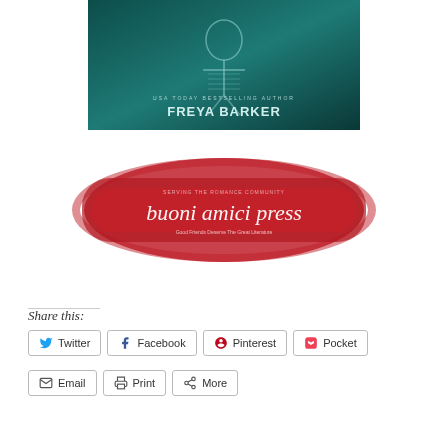[Figure (illustration): Book cover showing Freya Barker - USA Today Bestselling Author, dark teal/green toned image with skeletal or mechanical imagery]
[Figure (logo): Buoni Amici Press logo - red brushstroke paint background with cursive white text reading 'buoni amici press' and small tagline text]
Share this:
Twitter
Facebook
Pinterest
Pocket
Email
Print
More